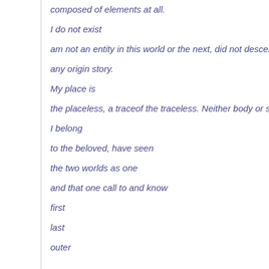composed of elements at all.
I do not exist
am not an entity in this world or the next, did not descend from A
any origin story.
My place is
the placeless, a traceof the traceless. Neither body or soul.
I belong
to the beloved, have seen
the two worlds as one
and that one call to and know
first
last
outer